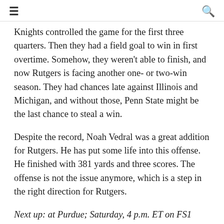≡  🔍
Knights controlled the game for the first three quarters. Then they had a field goal to win in first overtime. Somehow, they weren't able to finish, and now Rutgers is facing another one- or two-win season. They had chances late against Illinois and Michigan, and without those, Penn State might be the last chance to steal a win.
Despite the record, Noah Vedral was a great addition for Rutgers. He has put some life into this offense. He finished with 381 yards and three scores. The offense is not the issue anymore, which is a step in the right direction for Rutgers.
Next up: at Purdue; Saturday, 4 p.m. ET on FS1
11. Nebraska (1-3)